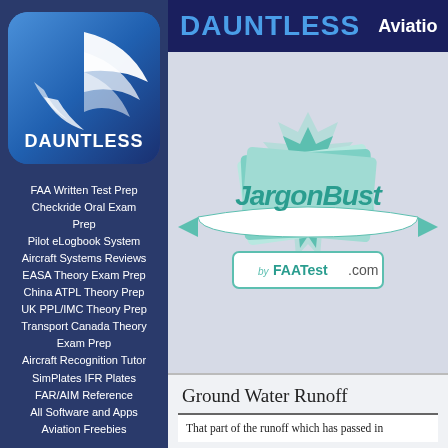[Figure (logo): Dauntless Aviation logo: blue rounded square with white stylized wing/bird shape and DAUNTLESS text]
FAA Written Test Prep
Checkride Oral Exam Prep
Pilot eLogbook System
Aircraft Systems Reviews
EASA Theory Exam Prep
China ATPL Theory Prep
UK PPL/IMC Theory Prep
Transport Canada Theory Exam Prep
Aircraft Recognition Tutor
SimPlates IFR Plates
FAR/AIM Reference
All Software and Apps
Aviation Freebies
DAUNTLESS  Aviation
[Figure (logo): JargonBuster by FAATest.com logo with teal starburst badge and banner ribbon]
Ground Water Runoff
That part of the runoff which has passed in